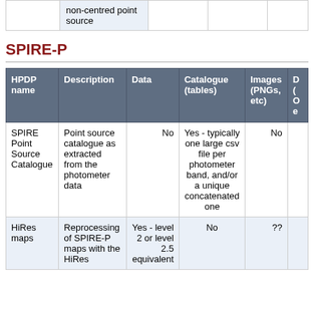| HPDP name | Description | Data | Catalogue (tables) | Images (PNGs, etc) | D... |
| --- | --- | --- | --- | --- | --- |
|  | non-centred point source |  |  |  |  |
SPIRE-P
| HPDP name | Description | Data | Catalogue (tables) | Images (PNGs, etc) | D (... e) |
| --- | --- | --- | --- | --- | --- |
| SPIRE Point Source Catalogue | Point source catalogue as extracted from the photometer data | No | Yes - typically one large csv file per photometer band, and/or a unique concatenated one | No |  |
| HiRes maps | Reprocessing of SPIRE-P maps with the HiRes | Yes - level 2 or level 2.5 equivalent | No | ?? |  |